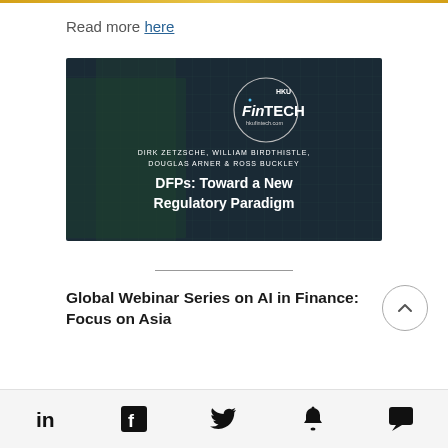Read more here
[Figure (illustration): HKU FinTech presentation slide showing authors Dirk Zetzsche, William Birdthistle, Douglas Arner & Ross Buckley and title 'DFPs: Toward a New Regulatory Paradigm' on a dark teal background with architectural imagery and HKU FinTech logo]
Global Webinar Series on AI in Finance: Focus on Asia